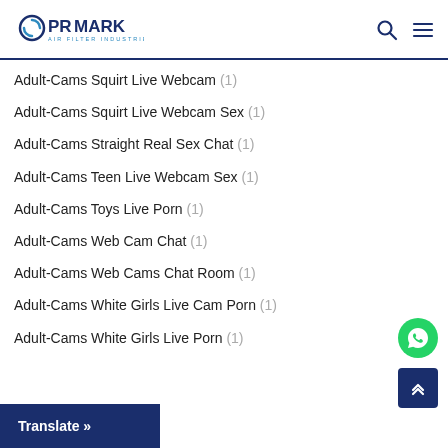PROMARK AIR FILTER INDUSTRIES
Adult-Cams Squirt Live Webcam (1)
Adult-Cams Squirt Live Webcam Sex (1)
Adult-Cams Straight Real Sex Chat (1)
Adult-Cams Teen Live Webcam Sex (1)
Adult-Cams Toys Live Porn (1)
Adult-Cams Web Cam Chat (1)
Adult-Cams Web Cams Chat Room (1)
Adult-Cams White Girls Live Cam Porn (1)
Adult-Cams White Girls Live Porn (1)